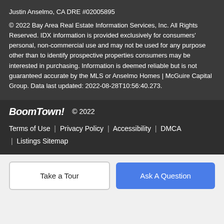Justin Anselmo, CA DRE #02005895
© 2022 Bay Area Real Estate Information Services, Inc. All Rights Reserved. IDX information is provided exclusively for consumers' personal, non-commercial use and may not be used for any purpose other than to identify prospective properties consumers may be interested in purchasing. Information is deemed reliable but is not guaranteed accurate by the MLS or Anselmo Homes | McGuire Capital Group. Data last updated: 2022-08-28T10:56:40.273.
BoomTown! © 2022
Terms of Use | Privacy Policy | Accessibility | DMCA | Listings Sitemap
Take a Tour
Ask A Question